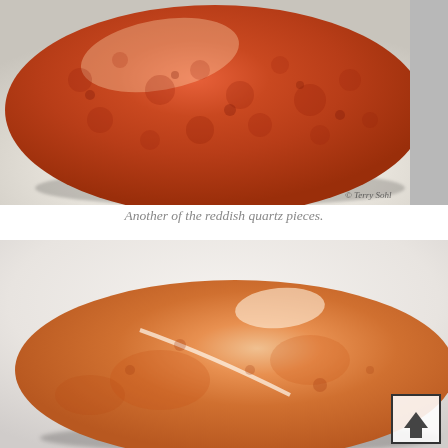[Figure (photo): Close-up photograph of a polished reddish-orange quartz stone on a white/cream surface. The stone has a deep reddish-orange mottled texture with a smooth, glossy surface. A small watermark reading '© Terry Sohl' is visible in the lower right corner of the image.]
Another of the reddish quartz pieces.
[Figure (photo): Close-up photograph of a polished peach/orange quartz stone on a white surface with a faint shadow. The stone is lighter than the first, with a mix of orange and peach tones, a white vein running across it, and a glossy reflective surface. A scroll-to-top button (upward arrow in a square box) is visible in the lower right corner.]